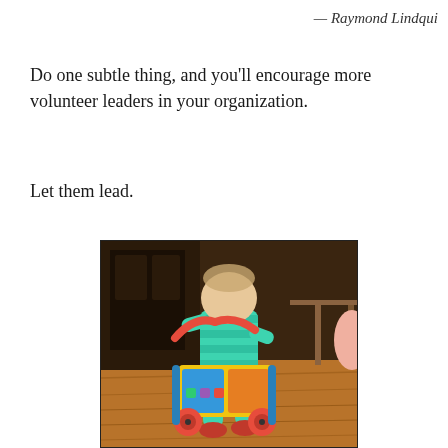— Raymond Lindqui
Do one subtle thing, and you'll encourage more volunteer leaders in your organization.
Let them lead.
[Figure (photo): A baby in a green striped onesie pushing a colorful toy walker on a wooden floor indoors.]